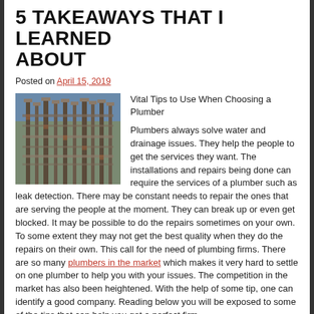5 TAKEAWAYS THAT I LEARNED ABOUT
Posted on April 15, 2019
[Figure (photo): Photo of industrial plumbing or electrical infrastructure with pipes and metal structures]
Vital Tips to Use When Choosing a Plumber
Plumbers always solve water and drainage issues. They help the people to get the services they want. The installations and repairs being done can require the services of a plumber such as leak detection. There may be constant needs to repair the ones that are serving the people at the moment. They can break up or even get blocked. It may be possible to do the repairs sometimes on your own. To some extent they may not get the best quality when they do the repairs on their own. This call for the need of plumbing firms. There are so many plumbers in the market which makes it very hard to settle on one plumber to help you with your issues. The competition in the market has also been heightened. With the help of some tip, one can identify a good company. Reading below you will be exposed to some of the tips that can help you get a perfect firm.